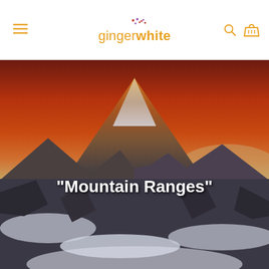ginger white
[Figure (photo): Mountain peak (likely Everest) with dramatic red-orange sunset sky, snow-covered slopes, text overlay reading "Mountain Ranges"]
"Mountain Ranges"